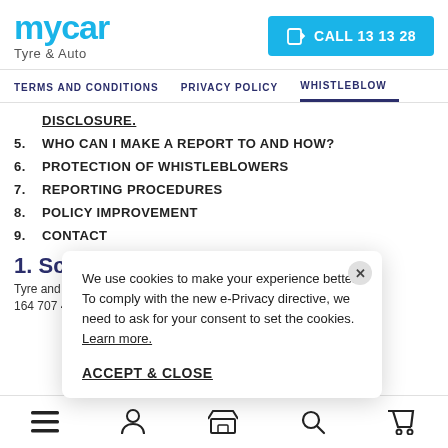[Figure (logo): mycar Tyre & Auto logo with blue text and call button]
TERMS AND CONDITIONS   PRIVACY POLICY   WHISTLEBLOW...
DISCLOSURE.
5.  WHO CAN I MAKE A REPORT TO AND HOW?
6.  PROTECTION OF WHISTLEBLOWERS
7.  REPORTING PROCEDURES
8.  POLICY IMPROVEMENT
9.  CONTACT
1. Scope
Tyre and Auto... 164 707 484 (mycar), part of the Continental AG Group, is
We use cookies to make your experience better. To comply with the new e-Privacy directive, we need to ask for your consent to set the cookies. Learn more.

ACCEPT & CLOSE